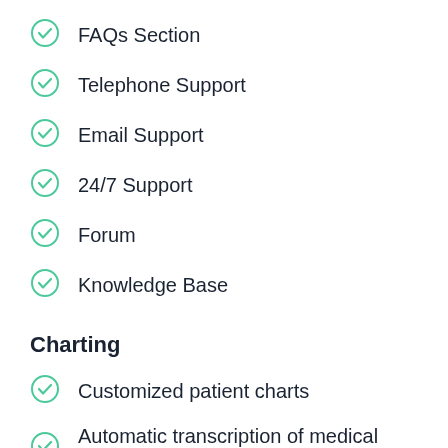FAQs Section
Telephone Support
Email Support
24/7 Support
Forum
Knowledge Base
Charting
Customized patient charts
Automatic transcription of medical notes
Insurance information
Medication list
Problem list
Allergy list